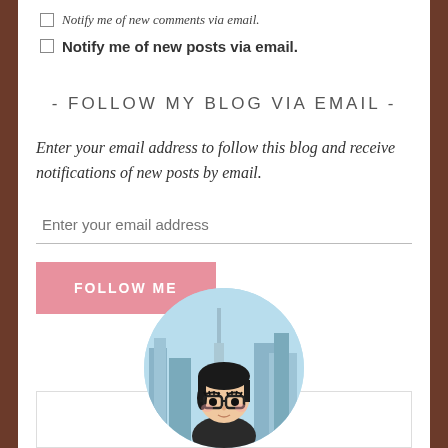Notify me of new comments via email.
Notify me of new posts via email.
- FOLLOW MY BLOG VIA EMAIL -
Enter your email address to follow this blog and receive notifications of new posts by email.
Enter your email address
FOLLOW ME
[Figure (illustration): Cartoon avatar of a woman with dark hair, glasses, wearing a dark outfit, set against a city skyline background, displayed in a circular frame.]